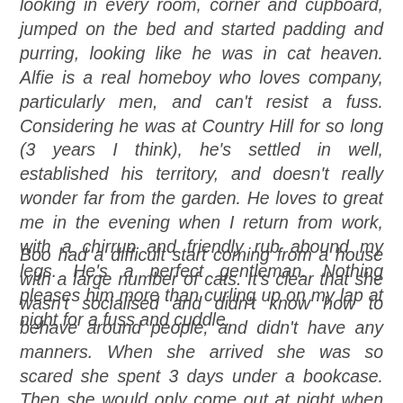looking in every room, corner and cupboard, jumped on the bed and started padding and purring, looking like he was in cat heaven. Alfie is a real homeboy who loves company, particularly men, and can't resist a fuss. Considering he was at Country Hill for so long (3 years I think), he's settled in well, established his territory, and doesn't really wonder far from the garden. He loves to great me in the evening when I return from work, with a chirrup and friendly rub abound my legs. He's a perfect gentleman. Nothing pleases him more than curling up on my lap at night for a fuss and cuddle.
Boo had a difficult start coming from a house with a large number of cats. It's clear that she wasn't socialised and didn't know how to behave around people, and didn't have any manners. When she arrived she was so scared she spent 3 days under a bookcase. Then she would only come out at night when the rest wouldn't bother her, eat her food and...